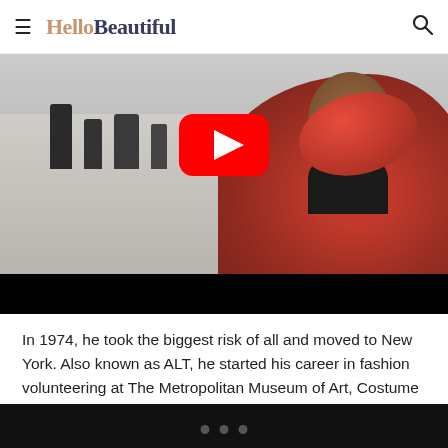HelloBeautiful
[Figure (screenshot): Video thumbnail showing a person in a red puffy jacket, with a YouTube play button overlay. Background shows shelves with dark bottles. Bottom portion is a black bar.]
In 1974, he took the biggest risk of all and moved to New York. Also known as ALT, he started his career in fashion volunteering at The Metropolitan Museum of Art, Costume Institute helping Diana Vreeland, who quickly became his mentor. In the documentary, he